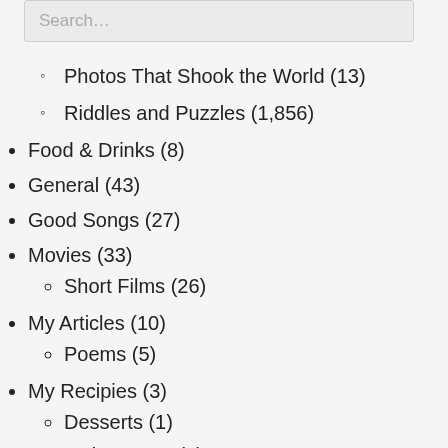Search…
Photos That Shook the World (13)
Riddles and Puzzles (1,856)
Food & Drinks (8)
General (43)
Good Songs (27)
Movies (33)
Short Films (26)
My Articles (10)
Poems (5)
My Recipies (3)
Desserts (1)
Main course (1)
Mocktails (1)
Pets & Animals (42)